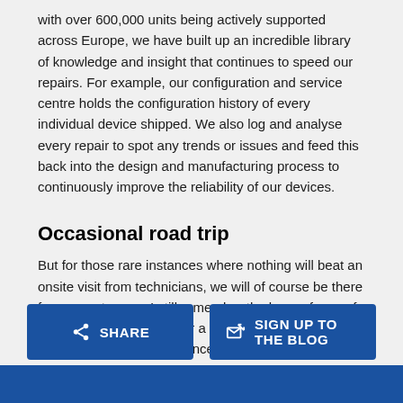with over 600,000 units being actively supported across Europe, we have built up an incredible library of knowledge and insight that continues to speed our repairs. For example, our configuration and service centre holds the configuration history of every individual device shipped. We also log and analyse every repair to spot any trends or issues and feed this back into the design and manufacturing process to continuously improve the reliability of our devices.
Occasional road trip
But for those rare instances where nothing will beat an onsite visit from technicians, we will of course be there for our customers. I still remember the happy faces of the technicians chosen for a road trip to several customer sites across France. Our technicians love an occasional road trip but generally the repair centre is still the best place for those rugged devices in need of expert care.
[Figure (other): Two blue buttons: SHARE (with share icon) and SIGN UP TO THE BLOG (with pencil/envelope icon)]